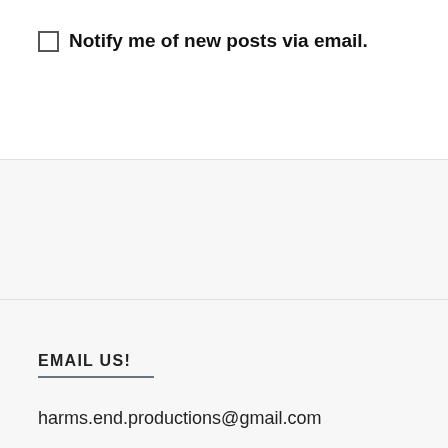Notify me of new posts via email.
EMAIL US!
harms.end.productions@gmail.com